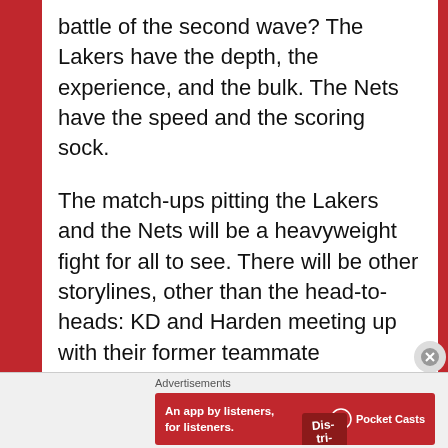battle of the second wave? The Lakers have the depth, the experience, and the bulk. The Nets have the speed and the scoring sock.
The match-ups pitting the Lakers and the Nets will be a heavyweight fight for all to see. There will be other storylines, other than the head-to-heads: KD and Harden meeting up with their former teammate Westbrook. In Cleveland, Lebron was Batman with a more-than-worthy Robin in Kyrie. Melo, previously the US Olympic team's scoring leader, pits offensive prowess against KD, the guy who dethroned him just this
Advertisements
[Figure (other): Advertisement banner for Pocket Casts: red background with text 'An app by listeners, for listeners.' and the Pocket Casts logo with a phone graphic showing 'Dis-tri-bued' text.]